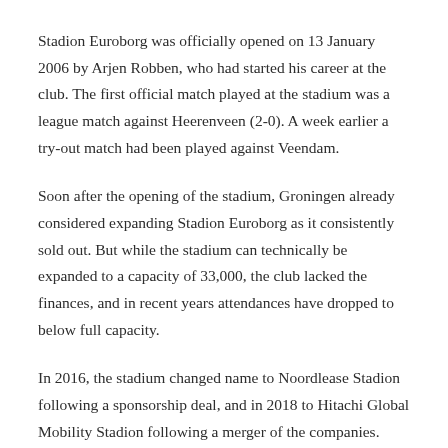Stadion Euroborg was officially opened on 13 January 2006 by Arjen Robben, who had started his career at the club. The first official match played at the stadium was a league match against Heerenveen (2-0). A week earlier a try-out match had been played against Veendam.
Soon after the opening of the stadium, Groningen already considered expanding Stadion Euroborg as it consistently sold out. But while the stadium can technically be expanded to a capacity of 33,000, the club lacked the finances, and in recent years attendances have dropped to below full capacity.
In 2016, the stadium changed name to Noordlease Stadion following a sponsorship deal, and in 2018 to Hitachi Global Mobility Stadion following a merger of the companies.